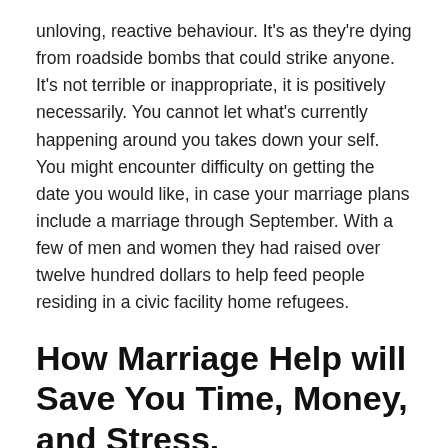unloving, reactive behaviour. It’s as they’re dying from roadside bombs that could strike anyone. It’s not terrible or inappropriate, it is positively necessarily. You cannot let what’s currently happening around you takes down your self. You might encounter difficulty on getting the date you would like, in case your marriage plans include a marriage through September. With a few of men and women they had raised over twelve hundred dollars to help feed people residing in a civic facility home refugees.
How Marriage Help will Save You Time, Money, and Stress.
The thing that you’ll need is a set of all the important